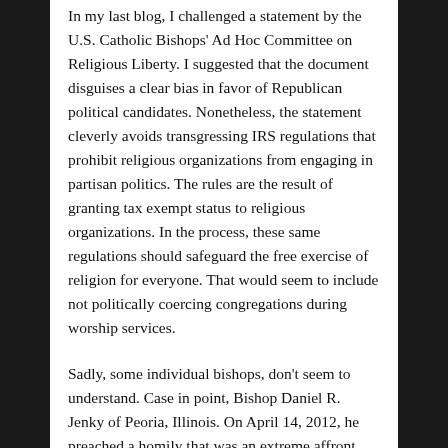In my last blog, I challenged a statement by the U.S. Catholic Bishops' Ad Hoc Committee on Religious Liberty. I suggested that the document disguises a clear bias in favor of Republican political candidates. Nonetheless, the statement cleverly avoids transgressing IRS regulations that prohibit religious organizations from engaging in partisan politics. The rules are the result of granting tax exempt status to religious organizations. In the process, these same regulations should safeguard the free exercise of religion for everyone. That would seem to include not politically coercing congregations during worship services.
Sadly, some individual bishops, don't seem to understand. Case in point, Bishop Daniel R. Jenky of Peoria, Illinois. On April 14, 2012, he preached a homily that was an extreme affront both to the Gospel and to the Constitution.